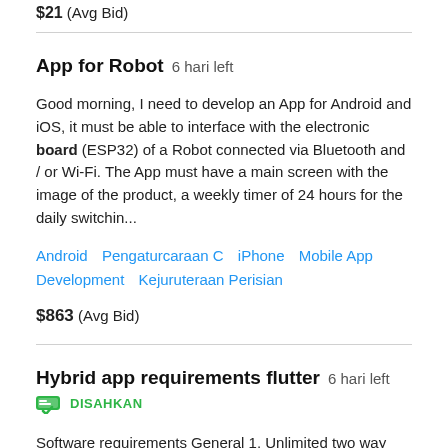$21  (Avg Bid)
App for Robot  6 hari left
Good morning, I need to develop an App for Android and iOS, it must be able to interface with the electronic board (ESP32) of a Robot connected via Bluetooth and / or Wi-Fi. The App must have a main screen with the image of the product, a weekly timer of 24 hours for the daily switchin...
Android   Pengaturcaraan C   iPhone   Mobile App Development   Kejuruteraan Perisian
$863  (Avg Bid)
Hybrid app requirements flutter  6 hari left
DISAHKAN
Software requirements General 1. Unlimited two way live class and recordings. 2. Sharing of st...management, reminders, ledgers, online payment of fees and its auto